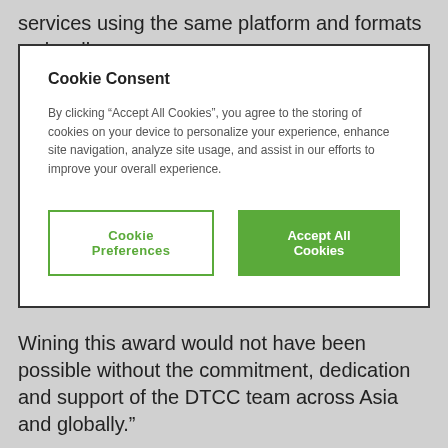services using the same platform and formats as locally based reporting to fulfil their global reporting
Cookie Consent
By clicking “Accept All Cookies”, you agree to the storing of cookies on your device to personalize your experience, enhance site navigation, analyze site usage, and assist in our efforts to improve your overall experience.
Wining this award would not have been possible without the commitment, dedication and support of the DTCC team across Asia and globally.”
Today, DTCC has more than 400 clients in Asia and Japan reporting approximately 3 million open positions under the Australian Securities and Investment Commission (ASIC), the Financial Services Agency (JFSA), the Monetary